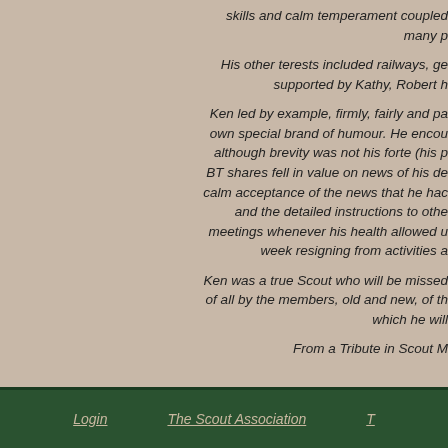skills and calm temperament coupled with many p
His other terests included railways, ge... supported by Kathy, Robert h...
Ken led by example, firmly, fairly and pa... own special brand of humour. He encou... although brevity was not his forte (his p... BT shares fell in value on news of his de... calm acceptance of the news that he hac... and the detailed instructions to othe... meetings whenever his health allowed u... week resigning from activities a...
Ken was a true Scout who will be missed... of all by the members, old and new, of th... which he will...
From a Tribute in Scout M...
Login   The Scout Association   T...